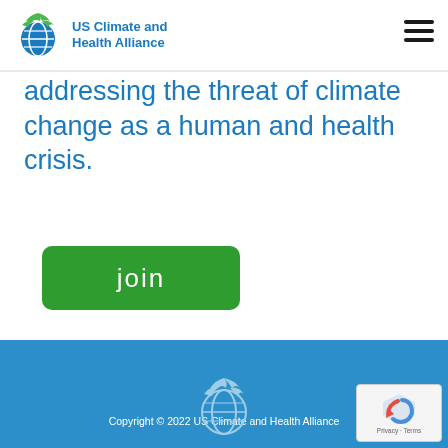US Climate and Health Alliance
addressing the threat of climate change as a human and health crisis.
join
Home | About | Join | Members | Resources | Meetings & Events | News | Blog | Contact
Copyright © 2022 US Climate and Health Alliance